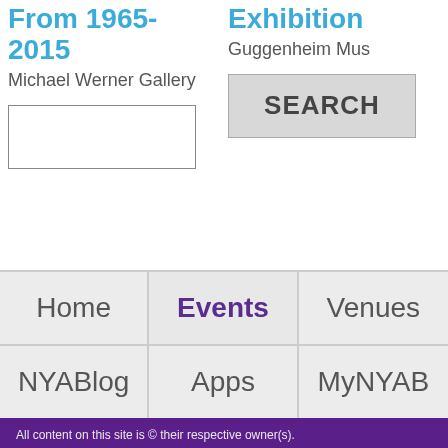From 1965-2015
Michael Werner Gallery
Exhibition
Guggenheim Mus
SEARCH
Home
Events
Venues
NYABlog
Apps
MyNYAB
All content on this site is © their respective owner(s). New York Art Beat (2008) - About - Contact - Privacy - Terms of Use